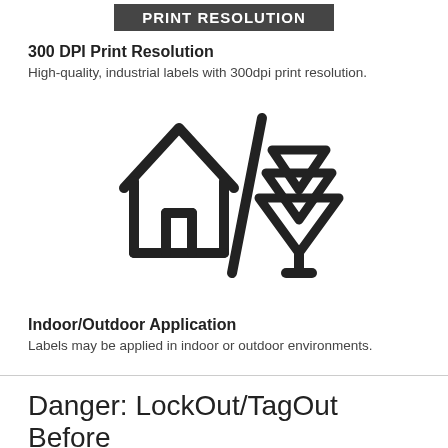PRINT RESOLUTION
300 DPI Print Resolution
High-quality, industrial labels with 300dpi print resolution.
[Figure (illustration): Icon showing a house and a pine tree separated by a forward slash, representing indoor/outdoor application.]
Indoor/Outdoor Application
Labels may be applied in indoor or outdoor environments.
Danger: LockOut/TagOut Before